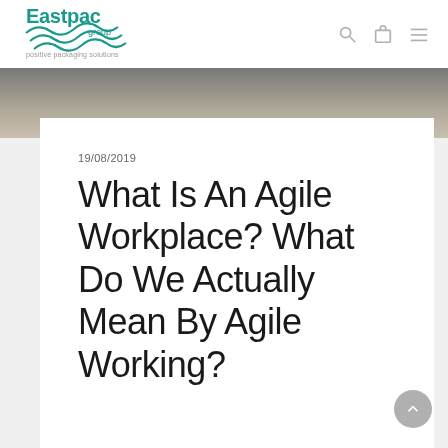Eastpac group — positive packaging solutions
[Figure (photo): Hero banner image showing an office/building interior hallway with glass walls and people walking]
19/08/2019
What Is An Agile Workplace? What Do We Actually Mean By Agile Working?